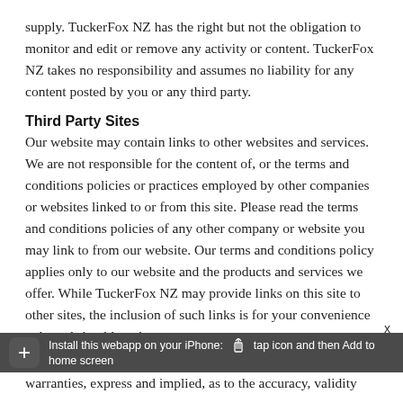supply. TuckerFox NZ has the right but not the obligation to monitor and edit or remove any activity or content. TuckerFox NZ takes no responsibility and assumes no liability for any content posted by you or any third party.
Third Party Sites
Our website may contain links to other websites and services. We are not responsible for the content of, or the terms and conditions policies or practices employed by other companies or websites linked to or from this site. Please read the terms and conditions policies of any other company or website you may link to from our website. Our terms and conditions policy applies only to our website and the products and services we offer. While TuckerFox NZ may provide links on this site to other sites, the inclusion of such links is for your convenience only and should not be
Install this webapp on your iPhone: tap icon and then Add to home screen
warranties, express and implied, as to the accuracy, validity